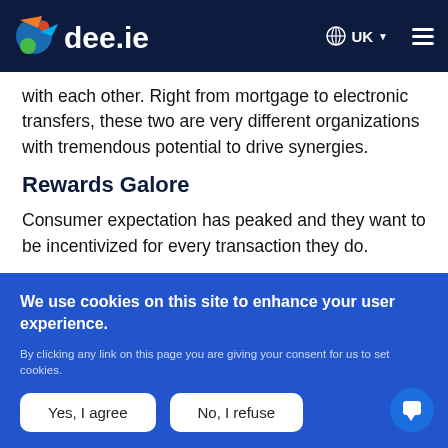dee.ie — UK
with each other. Right from mortgage to electronic transfers, these two are very different organizations with tremendous potential to drive synergies.
Rewards Galore
Consumer expectation has peaked and they want to be incentivized for every transaction they do.
We use cookies on this site to enhance your user experience.

By clicking any link on this page you are giving your consent for us to set cookies.